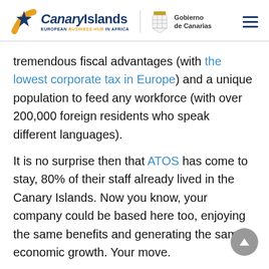Canary Islands European Business Hub in Africa | Gobierno de Canarias
tremendous fiscal advantages (with the lowest corporate tax in Europe) and a unique population to feed any workforce (with over 200,000 foreign residents who speak different languages).
It is no surprise then that ATOS has come to stay, 80% of their staff already lived in the Canary Islands. Now you know, your company could be based here too, enjoying the same benefits and generating the same economic growth. Your move.